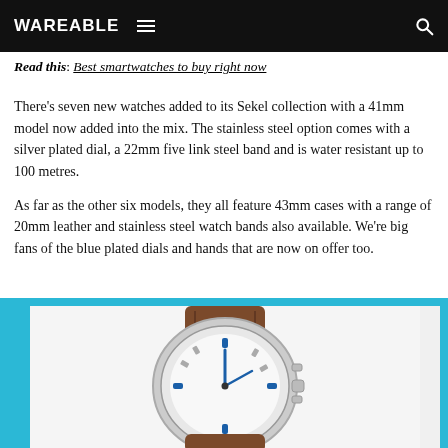WAREABLE
Read this: Best smartwatches to buy right now
There's seven new watches added to its Sekel collection with a 41mm model now added into the mix. The stainless steel option comes with a silver plated dial, a 22mm five link steel band and is water resistant up to 100 metres.
As far as the other six models, they all feature 43mm cases with a range of 20mm leather and stainless steel watch bands also available. We're big fans of the blue plated dials and hands that are now on offer too.
[Figure (photo): Close-up photo of a watch with a brown leather strap, silver case, and blue dial markers/hands, displayed inside a cyan/turquoise border frame.]